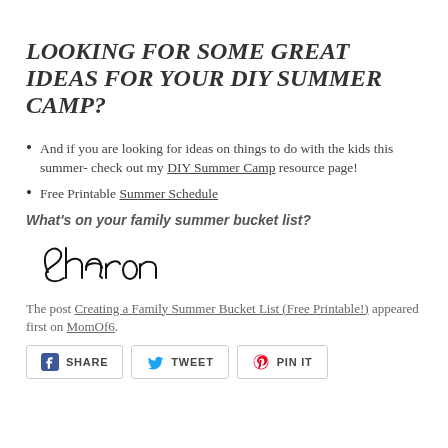LOOKING FOR SOME GREAT IDEAS FOR YOUR DIY SUMMER CAMP?
And if you are looking for ideas on things to do with the kids this summer- check out my DIY Summer Camp resource page!
Free Printable Summer Schedule
What's on your family summer bucket list?
[Figure (illustration): Handwritten cursive signature reading 'Sharon']
The post Creating a Family Summer Bucket List (Free Printable!) appeared first on MomOf6.
[Figure (infographic): Social sharing buttons: Facebook Share, Twitter Tweet, Pinterest Pin It]